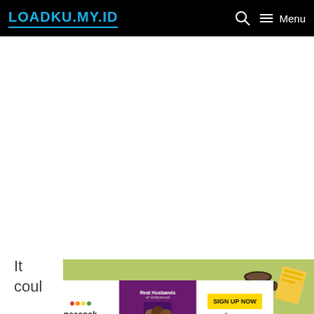LOADKU.MY.ID — Navigation bar with search and menu icons
[Figure (screenshot): Large white advertisement/content placeholder area]
It could
[Figure (illustration): Green banner with coffee cup and yellow book/notepad decorative elements]
[Figure (screenshot): Peacock streaming service advertisement banner with 'Real Husbands of Hollywood' show image and 'SIGN UP NOW' button]